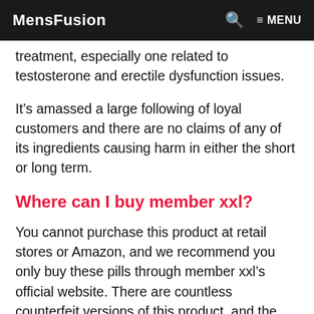MensFusion  🔍  ≡ MENU
treatment, especially one related to testosterone and erectile dysfunction issues.
It's amassed a large following of loyal customers and there are no claims of any of its ingredients causing harm in either the short or long term.
Where can I buy member xxl?
You cannot purchase this product at retail stores or Amazon, and we recommend you only buy these pills through member xxl's official website. There are countless counterfeit versions of this product, and the ingredients included in these illegal pills can be harmful. Don't take for granted that all products are made from the same formula.